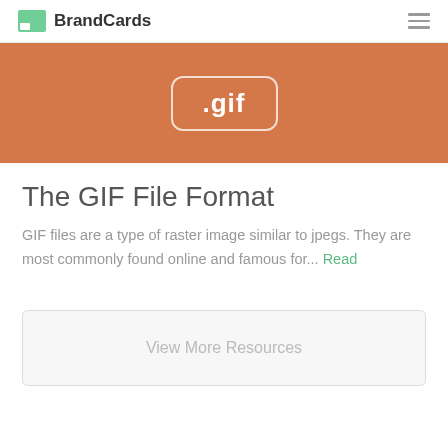BrandCards
[Figure (illustration): Orange banner with '.gif' text in a rounded rectangle outline on a warm orange background]
The GIF File Format
GIF files are a type of raster image similar to jpegs. They are most commonly found online and famous for... Read
View More Resources